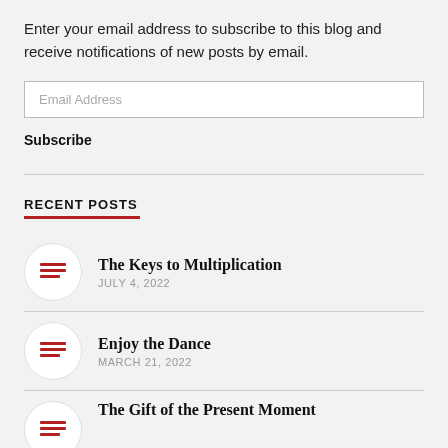Enter your email address to subscribe to this blog and receive notifications of new posts by email.
Email Address
Subscribe
RECENT POSTS
The Keys to Multiplication
JULY 4, 2022
Enjoy the Dance
MARCH 21, 2022
The Gift of the Present Moment